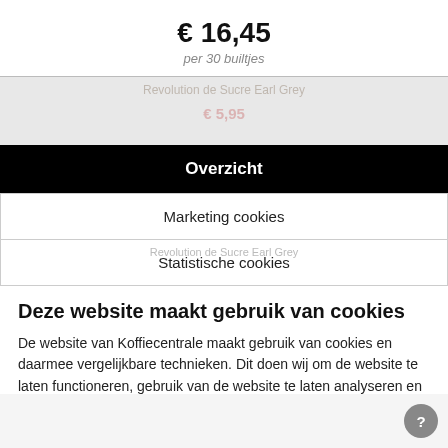€ 16,45
per 30 builtjes
Overzicht
Marketing cookies
Statistische cookies
Deze website maakt gebruik van cookies
De website van Koffiecentrale maakt gebruik van cookies en daarmee vergelijkbare technieken. Dit doen wij om de website te laten functioneren, gebruik van de website te laten analyseren en om jouw gebruikerservaring te optimaliseren. Als je verdergaat op onze website gaan we ervan uit dat je dat goedvindt. Meer informatie over cookies vind je in ons cookie overzicht.
Alle toestaan